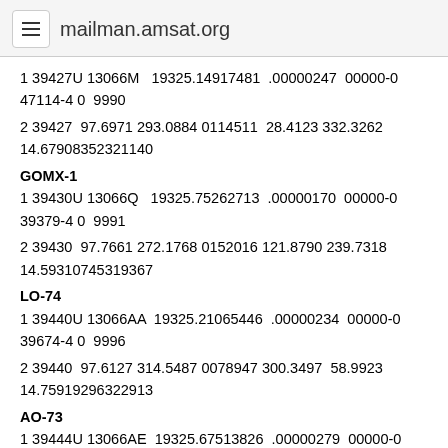mailman.amsat.org
1 39427U 13066M   19325.14917481  .00000247  00000-0 47114-4 0  9990
2 39427  97.6971 293.0884 0114511  28.4123 332.3262 14.67908352321140
GOMX-1
1 39430U 13066Q   19325.75262713  .00000170  00000-0 39379-4 0  9991
2 39430  97.7661 272.1768 0152016 121.8790 239.7318 14.59310745319367
LO-74
1 39440U 13066AA  19325.21065446  .00000234  00000-0 39674-4 0  9996
2 39440  97.6127 314.5487 0078947 300.3497  58.9923 14.75919296322913
AO-73
1 39444U 13066AE  19325.67513826  .00000279  00000-0 40693-4 0  9992
2 39444  97.5583 332.4943 0056812 234.9149 124.6731 14.82013256323032